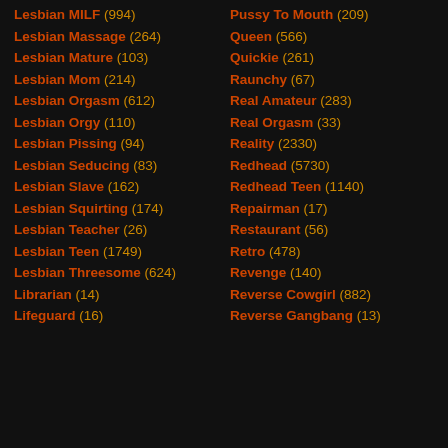Lesbian MILF (994)
Lesbian Massage (264)
Lesbian Mature (103)
Lesbian Mom (214)
Lesbian Orgasm (612)
Lesbian Orgy (110)
Lesbian Pissing (94)
Lesbian Seducing (83)
Lesbian Slave (162)
Lesbian Squirting (174)
Lesbian Teacher (26)
Lesbian Teen (1749)
Lesbian Threesome (624)
Librarian (14)
Lifeguard (16)
Pussy To Mouth (209)
Queen (566)
Quickie (261)
Raunchy (67)
Real Amateur (283)
Real Orgasm (33)
Reality (2330)
Redhead (5730)
Redhead Teen (1140)
Repairman (17)
Restaurant (56)
Retro (478)
Revenge (140)
Reverse Cowgirl (882)
Reverse Gangbang (13)